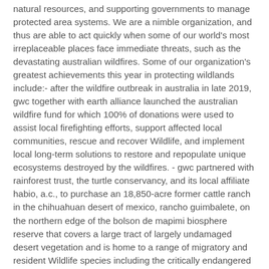natural resources, and supporting governments to manage protected area systems. We are a nimble organization, and thus are able to act quickly when some of our world's most irreplaceable places face immediate threats, such as the devastating australian wildfires. Some of our organization's greatest achievements this year in protecting wildlands include:- after the wildfire outbreak in australia in late 2019, gwc together with earth alliance launched the australian wildfire fund for which 100% of donations were used to assist local firefighting efforts, support affected local communities, rescue and recover Wildlife, and implement local long-term solutions to restore and repopulate unique ecosystems destroyed by the wildfires. - gwc partnered with rainforest trust, the turtle conservancy, and its local affiliate habio, a.c., to purchase an 18,850-acre former cattle ranch in the chihuahuan desert of mexico, rancho guimbalete, on the northern edge of the bolson de mapimi biosphere reserve that covers a large tract of largely undamaged desert vegetation and is home to a range of migratory and resident Wildlife species including the critically endangered bolson's tortoise. - gwc partnered with fauna & flora international, the environmental awareness group, and the government of antigua to develop a Conservation management